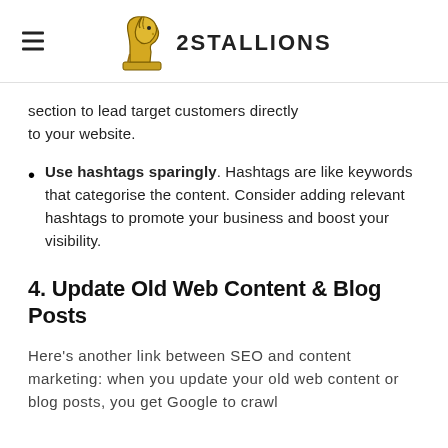2STALLIONS
section to lead target customers directly to your website.
Use hashtags sparingly. Hashtags are like keywords that categorise the content. Consider adding relevant hashtags to promote your business and boost your visibility.
4. Update Old Web Content & Blog Posts
Here's another link between SEO and content marketing: when you update your old web content or blog posts, you get Google to crawl